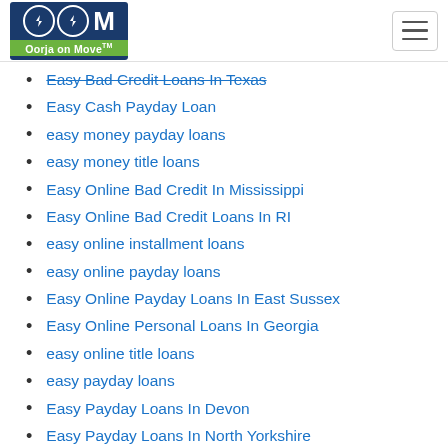Oorja on Move
Easy Bad Credit Loans In Texas
Easy Cash Payday Loan
easy money payday loans
easy money title loans
Easy Online Bad Credit In Mississippi
Easy Online Bad Credit Loans In RI
easy online installment loans
easy online payday loans
Easy Online Payday Loans In East Sussex
Easy Online Personal Loans In Georgia
easy online title loans
easy payday loans
Easy Payday Loans In Devon
Easy Payday Loans In North Yorkshire
Easy Payday Loans In Staffordshire
easy payday loans near me